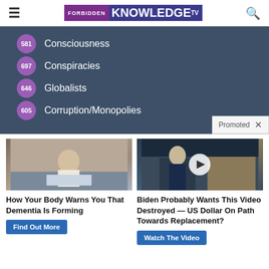FORBIDDEN KNOWLEDGE TV
581 Consciousness
697 Conspiracies
646 Globalists
605 Corruption/Monopolies
Promoted
[Figure (photo): Person sitting on bed in white clothing]
How Your Body Warns You That Dementia Is Forming
Find Out More
[Figure (photo): Man in suit on NYSE trading floor with play button overlay]
Biden Probably Wants This Video Destroyed — US Dollar On Path Towards Replacement?
Watch The Video